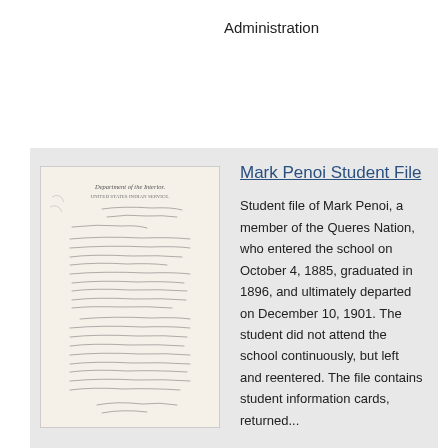Administration
[Figure (photo): Handwritten letter on aged paper, Department of the Interior header visible at top]
Mark Penoi Student File
Student file of Mark Penoi, a member of the Queres Nation, who entered the school on October 4, 1885, graduated in 1896, and ultimately departed on December 10, 1901. The student did not attend the school continuously, but left and reentered. The file contains student information cards, returned...
Repository:   National Archives and Records